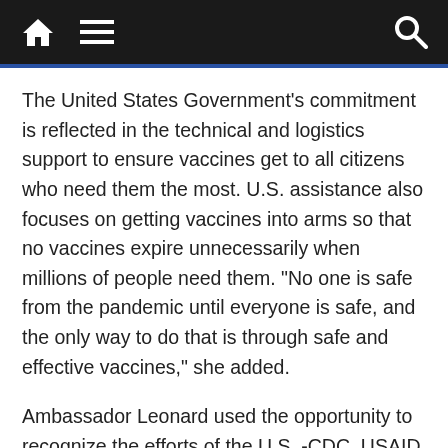Navigation bar with home, menu, and search icons
The United States Government’s commitment is reflected in the technical and logistics support to ensure vaccines get to all citizens who need them the most. U.S. assistance also focuses on getting vaccines into arms so that no vaccines expire unnecessarily when millions of people need them. “No one is safe from the pandemic until everyone is safe, and the only way to do that is through safe and effective vaccines,” she added.
Ambassador Leonard used the opportunity to recognize the efforts of the U.S. -CDC, USAID, and the U.S. Department of Defense Walter Reed Army Program for their support to Nigeria’s vaccine rollout.  In addition, she thanked U.S. CDC’s implementing partner, the Catholic Caritas